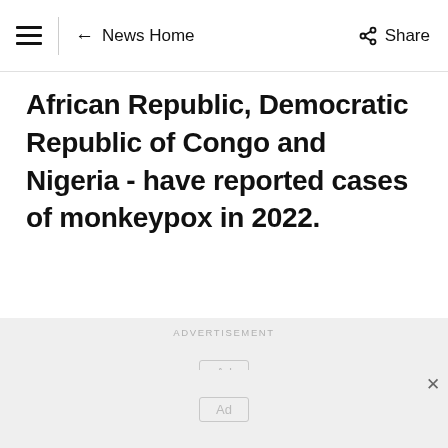≡  ← News Home   Share
African Republic, Democratic Republic of Congo and Nigeria - have reported cases of monkeypox in 2022.
[Figure (other): Advertisement placeholder with 'ADVERTISEMENT' label and two 'Ad' boxes on a light grey background, with a close (×) button]
ADVERTISEMENT